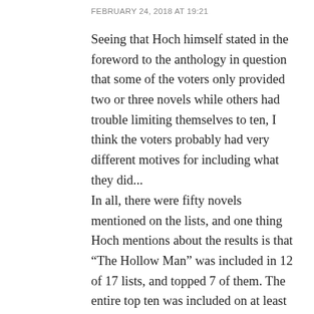FEBRUARY 24, 2018 AT 19:21
Seeing that Hoch himself stated in the foreword to the anthology in question that some of the voters only provided two or three novels while others had trouble limiting themselves to ten, I think the voters probably had very different motives for including what they did...
In all, there were fifty novels mentioned on the lists, and one thing Hoch mentions about the results is that “The Hollow Man” was included in 12 of 17 lists, and topped 7 of them. The entire top ten was included on at least four lists, and the most frequently included